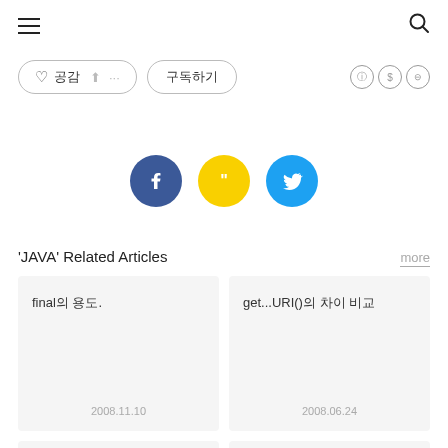[Figure (screenshot): Navigation bar with hamburger menu icon on left and search icon on right]
[Figure (screenshot): Action buttons: heart/공감/share/more pill button and 구독하기 subscribe button, with CC license icons on right]
[Figure (screenshot): Social sharing icons: Facebook (dark blue), KakaoStory (yellow), Twitter (light blue)]
'JAVA' Related Articles
more
final의 용도.
2008.11.10
get...URI()의 차이 비교
2008.06.24